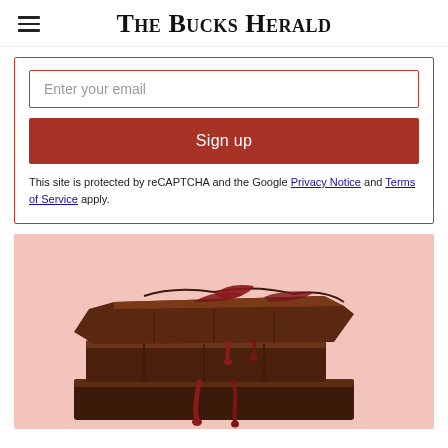The Bucks Herald
Enter your email
Sign up
This site is protected by reCAPTCHA and the Google Privacy Notice and Terms of Service apply.
[Figure (photo): Stack of dark chocolate bars with dark red jam or cherry sauce dripping down, on a light pink background]